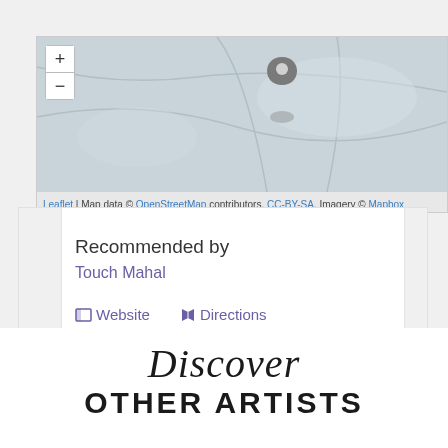[Figure (map): Interactive map with zoom controls (+/-) and a location pin marker. Map shows a partially visible street/terrain view with blue-gray tones. Attribution bar at bottom.]
Leaflet | Map data © OpenStreetMap contributors, CC-BY-SA, Imagery © Mapbox
Recommended by
Touch Mahal
Website   Directions
Discover
OTHER ARTISTS